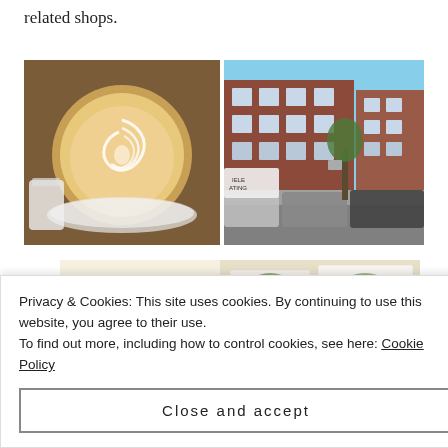related shops.
[Figure (photo): Top-down view of a latte with latte art in a white cup on a saucer, with a small white pitcher visible]
[Figure (photo): Street view of historic brick buildings in Boston with cars parked along the street, blue sky above]
[Figure (photo): Promotional section with green 'Explore options' button on cream background with food/recipe images to the right]
Privacy & Cookies: This site uses cookies. By continuing to use this website, you agree to their use.
To find out more, including how to control cookies, see here: Cookie Policy
Close and accept